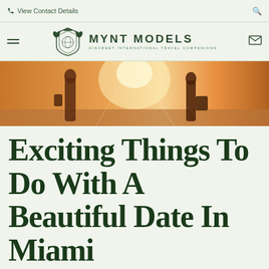View Contact Details
[Figure (logo): Mynt Models logo with pegasus crest and text 'MYNT MODELS — DISCREET INTERNATIONAL TRAVEL COMPANIONS']
[Figure (photo): Hero banner photo showing two silhouetted people standing on a beach at sunset with warm orange and golden tones]
Exciting Things To Do With A Beautiful Date In Miami